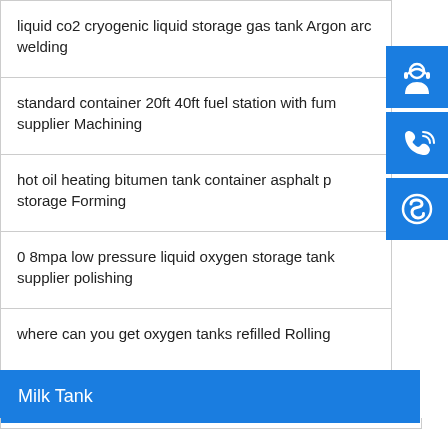liquid co2 cryogenic liquid storage gas tank Argon arc welding
standard container 20ft 40ft fuel station with fum supplier Machining
hot oil heating bitumen tank container asphalt p storage Forming
0 8mpa low pressure liquid oxygen storage tank supplier polishing
where can you get oxygen tanks refilled Rolling
Milk Tank